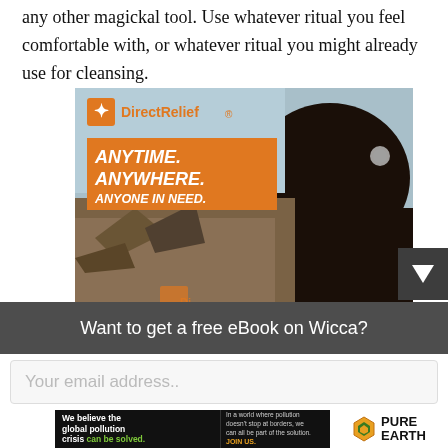any other magickal tool. Use whatever ritual you feel comfortable with, or whatever ritual you might already use for cleansing.
[Figure (photo): Advertisement for Direct Relief showing a woman from behind looking at disaster rubble, with orange banner reading ANYTIME. ANYWHERE. ANYONE IN NEED.]
Want to get a free eBook on Wicca?
Your email address..
[Figure (photo): Advertisement for Pure Earth: 'We believe the global pollution crisis can be solved.' with secondary text and JOIN US call to action, Pure Earth logo on right.]